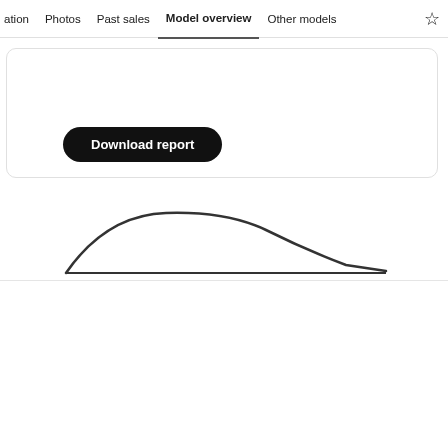ation  Photos  Past sales  Model overview  Other models
[Figure (screenshot): Download report button inside a white card with rounded corners]
[Figure (continuous-plot): Partial area chart showing a hill-shaped curve, cropped at bottom]
We use cookies to personalize your experience, to provide social media features and to analyze our traffic. We also share information about your use of our site with our social media, advertising and analytics partners. Cookie Settings
Accept all cookies